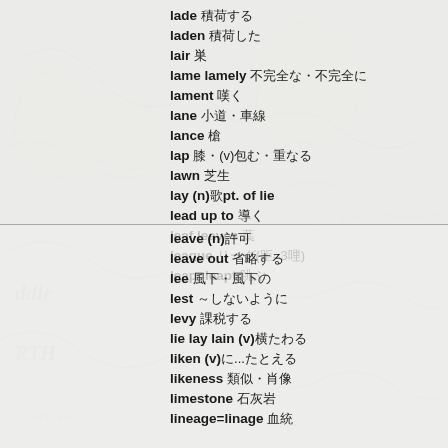lade 積荷する
laden 積荷した
lair 巣
lame lamely 不完全な・不完全に
lament 嘆く
lane 小道・車線
lance 槍
lap 膝・(v)包む・重なる
lawn 芝生
lay (n)歌・pt. of lie
lead up to 導く
leaf leaves 葉
league リーグ(距=3哩)
leap=leapt 跳ぶ
leave (n)許可
leave out 省略する
lee 風下・風下の
lest ～しないように
levy 課税する
lie lay lain (v)横たわる
liken (v)に...たとえる
likeness 類似・肖像
limestone 石灰岩
lineage=linage 血統